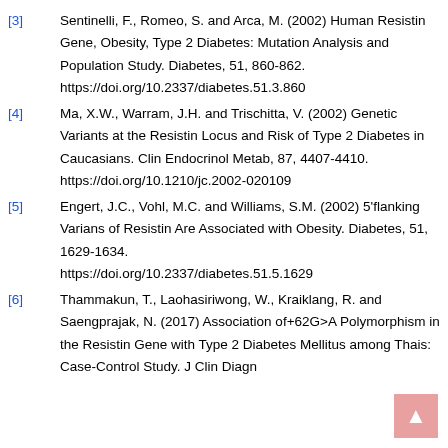[3] Sentinelli, F., Romeo, S. and Arca, M. (2002) Human Resistin Gene, Obesity, Type 2 Diabetes: Mutation Analysis and Population Study. Diabetes, 51, 860-862. https://doi.org/10.2337/diabetes.51.3.860
[4] Ma, X.W., Warram, J.H. and Trischitta, V. (2002) Genetic Variants at the Resistin Locus and Risk of Type 2 Diabetes in Caucasians. Clin Endocrinol Metab, 87, 4407-4410. https://doi.org/10.1210/jc.2002-020109
[5] Engert, J.C., Vohl, M.C. and Williams, S.M. (2002) 5'flanking Varians of Resistin Are Associated with Obesity. Diabetes, 51, 1629-1634. https://doi.org/10.2337/diabetes.51.5.1629
[6] Thammakun, T., Laohasiriwong, W., Kraiklang, R. and Saengprajak, N. (2017) Association of+62G>A Polymorphism in the Resistin Gene with Type 2 Diabetes Mellitus among Thais: Case-Control Study. J Clin Diagn